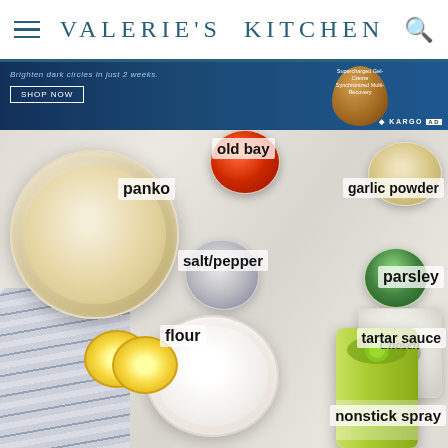VALERIE'S KITCHEN
[Figure (photo): Advertisement banner with blue background showing skincare product and text 'Brighten dark circles in just 2 weeks. SHOP NOW' with Kargo AD label]
[Figure (photo): Overhead flat-lay photo of recipe ingredients on a marble surface: panko breadcrumbs in large white bowl, Old Bay seasoning, garlic powder, salt/pepper, parsley, flour in white bowl, tartar sauce in glass jar, lemon slices, nonstick spray can (Chosen brand), and a blue striped cloth napkin. Ingredient names are labeled in bold text overlaid on the image.]